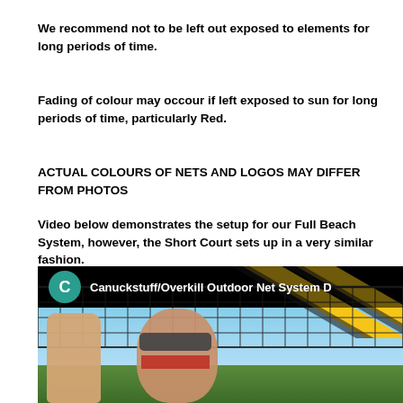We recommend not to be left out exposed to elements for long periods of time.
Fading of colour may occour if left exposed to sun for long periods of time, particularly Red.
ACTUAL COLOURS OF NETS AND LOGOS MAY DIFFER FROM PHOTOS
Video below demonstrates the setup for our Full Beach System, however, the Short Court sets up in a very similar fashion.
[Figure (screenshot): Video thumbnail showing a person in front of a volleyball net outdoors. Channel icon with letter C and text 'Canuckstuff/Overkill Outdoor Net System D' visible in header bar.]